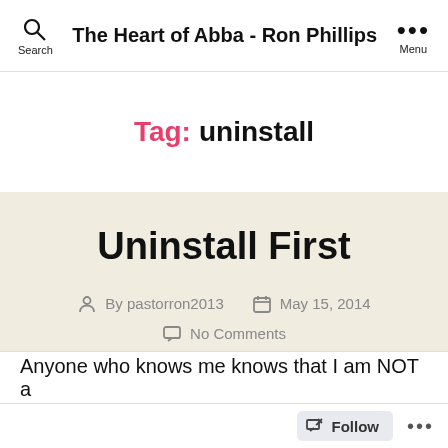The Heart of Abba - Ron Phillips
Tag: uninstall
Uninstall First
By pastorron2013   May 15, 2014   No Comments
Anyone who knows me knows that I am NOT a